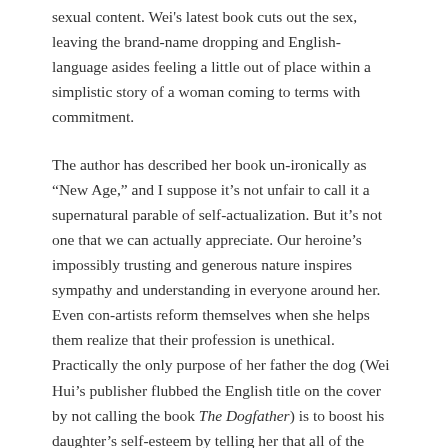sexual content. Wei's latest book cuts out the sex, leaving the brand-name dropping and English-language asides feeling a little out of place within a simplistic story of a woman coming to terms with commitment.
The author has described her book un-ironically as “New Age,” and I suppose it’s not unfair to call it a supernatural parable of self-actualization. But it’s not one that we can actually appreciate. Our heroine’s impossibly trusting and generous nature inspires sympathy and understanding in everyone around her. Even con-artists reform themselves when she helps them realize that their profession is unethical. Practically the only purpose of her father the dog (Wei Hui’s publisher flubbed the English title on the cover by not calling the book The Dogfather) is to boost his daughter’s self-esteem by telling her that all of the problems in her life are someone else’s fault.
And that’s basically how the story wraps up. Questions are answered and conflict is resolved when the supporting characters awaken to the error of their ways and make their apologies.